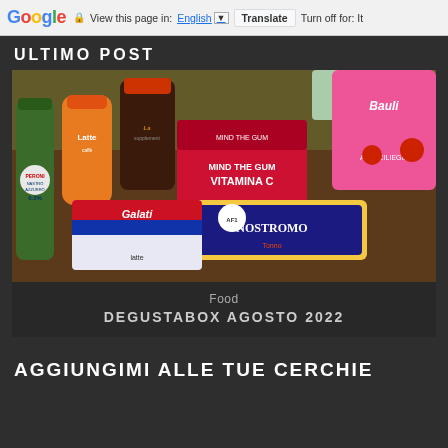Google  View this page in: English [▼]  Translate  Turn off for: It...
ULTIMO POST
[Figure (photo): Photo of various Italian food and beverage products on a wooden surface, including Peroni 0.0% beer bottle, Zymil Latte, a dark supplement jar, Nostromo Tonno tuna can, Galatine candy, Mind the Gum Vitamina C, Morato bread, and Bauli pastry products.]
Food
DEGUSTABOX AGOSTO 2022
AGGIUNGIMI ALLE TUE CERCHIE